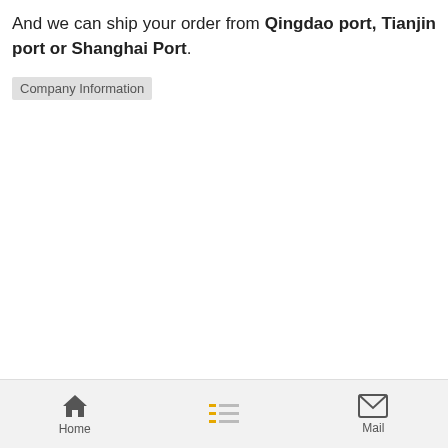And we can ship your order from Qingdao port, Tianjin port or Shanghai Port.
Company Information
Home  [menu]  Mail